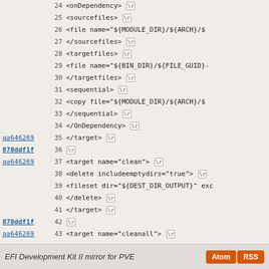Code listing showing XML build file lines 24-52 with git hash annotations
EFI Development Kit II mirror for PVE | Atom | RSS